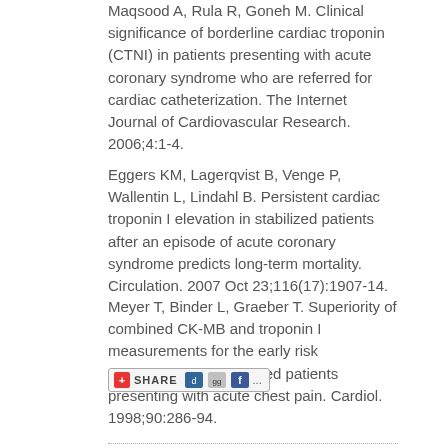Maqsood A, Rula R, Goneh M. Clinical significance of borderline cardiac troponin (CTNI) in patients presenting with acute coronary syndrome who are referred for cardiac catheterization. The Internet Journal of Cardiovascular Research. 2006;4:1-4.
Eggers KM, Lagerqvist B, Venge P, Wallentin L, Lindahl B. Persistent cardiac troponin I elevation in stabilized patients after an episode of acute coronary syndrome predicts long-term mortality. Circulation. 2007 Oct 23;116(17):1907-14.
Meyer T, Binder L, Graeber T. Superiority of combined CK-MB and troponin I measurements for the early risk stratification of unselected patients presenting with acute chest pain. Cardiol. 1998;90:286-94.
[Figure (other): Share button with social media icons including del.icio.us, Digg, and Facebook]
...